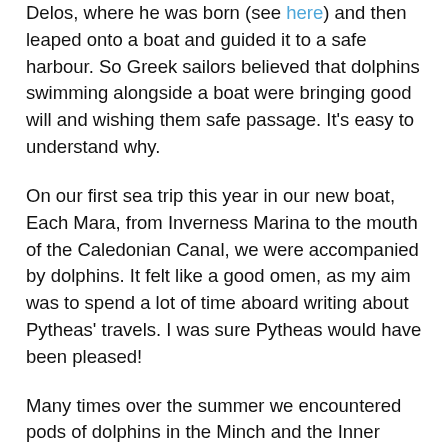Delos, where he was born (see here) and then leaped onto a boat and guided it to a safe harbour. So Greek sailors believed that dolphins swimming alongside a boat were bringing good will and wishing them safe passage. It's easy to understand why.
On our first sea trip this year in our new boat, Each Mara, from Inverness Marina to the mouth of the Caledonian Canal, we were accompanied by dolphins. It felt like a good omen, as my aim was to spend a lot of time aboard writing about Pytheas' travels. I was sure Pytheas would have been pleased!
Many times over the summer we encountered pods of dolphins in the Minch and the Inner Sound. It is invariably exciting to see them. Often they have come when the weather has been dire, after hours of rain, or when it has not windy enough to make good progress, or in rough seas. They never fail to lift our spirits as they surface with a friendly 'pff', and then course past the boat.
What do they think we are, in our slow-moving vessel? They